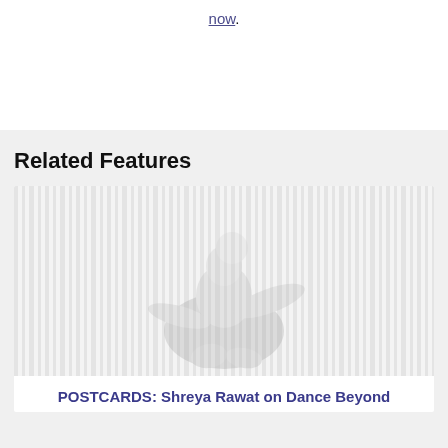now.
Related Features
[Figure (photo): A faint, washed-out photo of a dancer or person in motion against a light background with vertical stripe-like elements.]
POSTCARDS: Shreya Rawat on Dance Beyond